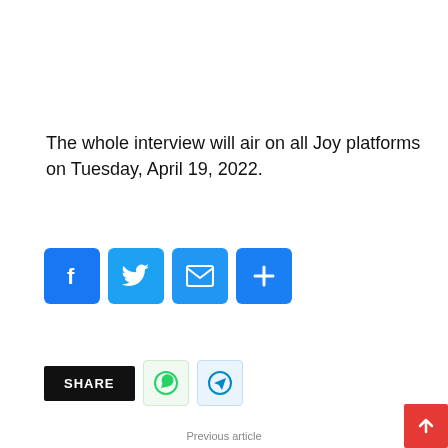The whole interview will air on all Joy platforms on Tuesday, April 19, 2022.
[Figure (other): Social media share buttons: Facebook, Twitter, Email, More/Plus — blue rounded square icons]
[Figure (other): Share bar with SHARE label (black), WhatsApp button (green tint), Telegram button (blue tint)]
Previous article
Osinachi's husband warns